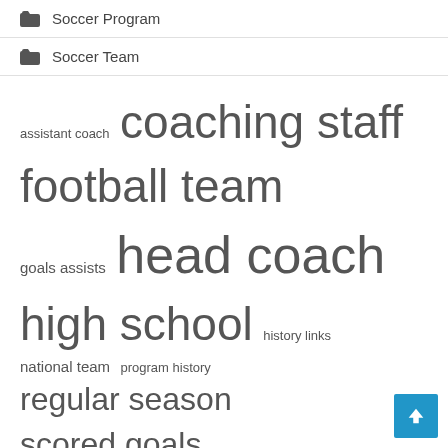Soccer Program
Soccer Team
assistant coach  coaching staff  football team  goals assists  head coach  high school  history links  national team  program history  regular season  scored goals  soccer team  united states  women football  women soccer
Recent Posts
Buckeyes open 30th season at Kansas and Missouri – Ohio State Bucke…